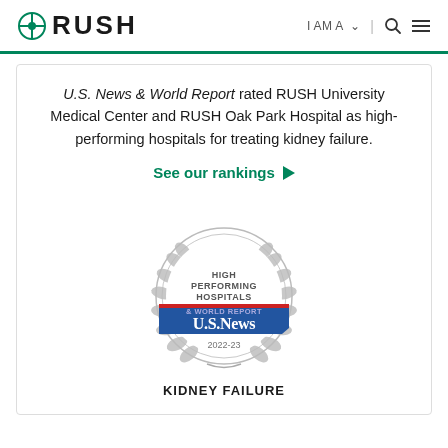RUSH | I AM A | [search] [menu]
U.S. News & World Report rated RUSH University Medical Center and RUSH Oak Park Hospital as high-performing hospitals for treating kidney failure.
See our rankings ▶
[Figure (logo): U.S. News & World Report High Performing Hospitals 2022-23 badge/seal with laurel wreath and blue banner]
KIDNEY FAILURE